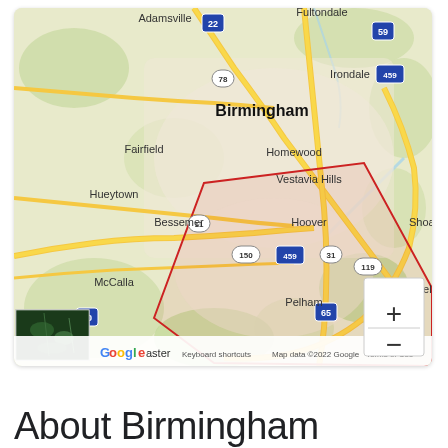[Figure (map): Google Map showing Birmingham, Alabama metropolitan area including surrounding cities: Adamsville, Fultondale, Irondale, Fairfield, Homewood, Vestavia Hills, Hueytown, Bessemer, Hoover, Shoal, McCalla, Pelham, Chelsea. Shows highway shields for routes 22, 59, 78, 459, 11, 150, 459, 31, 119, 65, 20. A red polygon outlines a region around the Hoover/Pelham area. A satellite image thumbnail appears in the bottom-left corner. Google logo, 'Easter' text, 'Keyboard shortcuts', 'Map data ©2022 Google', 'Terms of Use' appear at the bottom. Zoom controls (+/-) appear at bottom-right.]
About Birmingham